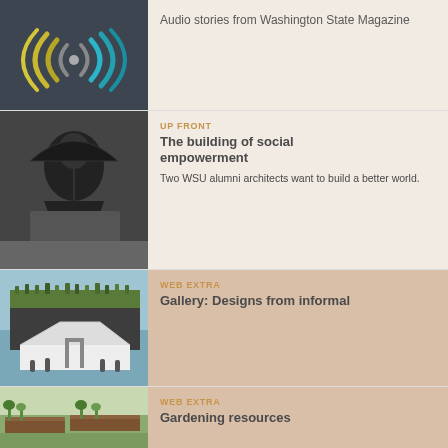[Figure (logo): WSU podcast logo with concentric arc lines in teal, olive/yellow, and gray on dark background]
Audio stories from Washington State Magazine
[Figure (photo): Black and white photo of a person with umbrella, architectural/portrait style]
UP FRONT
The building of social empowerment
Two WSU alumni architects want to build a better world.
[Figure (photo): Aerial/architectural photo showing a building with green roof and white structure with people visible]
WEB EXTRA
Gallery: Designs from informal
[Figure (photo): Garden photo with wooden raised beds and green plants]
WEB EXTRA
Gardening resources